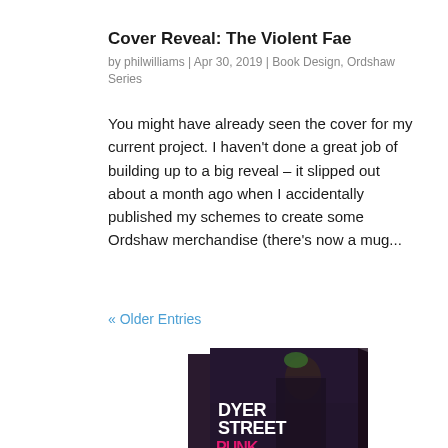Cover Reveal: The Violent Fae
by philwilliams | Apr 30, 2019 | Book Design, Ordshaw Series
You might have already seen the cover for my current project. I haven't done a great job of building up to a big reveal – it slipped out about a month ago when I accidentally published my schemes to create some Ordshaw merchandise (there's now a mug...
« Older Entries
[Figure (photo): Book cover image showing 'Dyer Street Punk Witches' - a dark atmospheric cover with a punk female figure, showing a 3D book mockup with dark purple/grey tones and pink graffiti-style text]